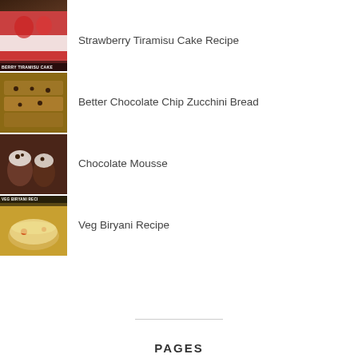[Figure (photo): Top partial thumbnail of a dark food item (partially visible at top of page)]
Strawberry Tiramisu Cake Recipe
Better Chocolate Chip Zucchini Bread
Chocolate Mousse
Veg Biryani Recipe
PAGES